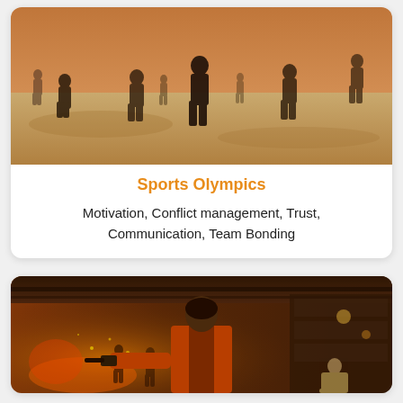[Figure (photo): Outdoor beach scene with multiple people standing on sandy ground in warm evening light]
Sports Olympics
Motivation, Conflict management, Trust, Communication, Team Bonding
[Figure (photo): Indoor action scene with a person in orange jacket holding a gun, dramatic lighting with fire and smoke in the background]